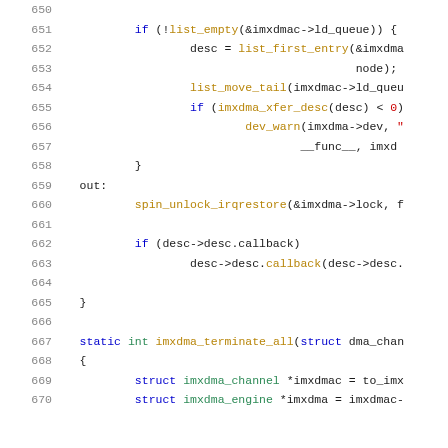[Figure (screenshot): Source code listing showing C code lines 650-670, with syntax highlighting. Line numbers in grey on the left, keywords in blue, function names in gold/yellow, strings/numbers in red, types in green.]